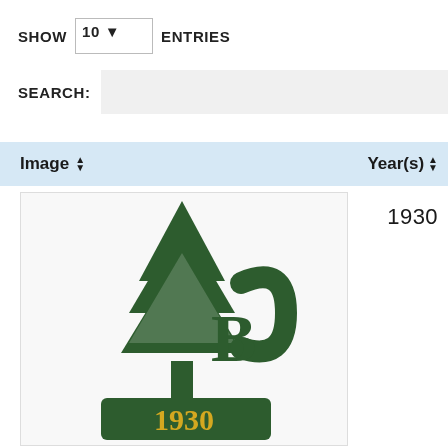SHOW 10 ENTRIES
SEARCH:
| Image | Year(s) |
| --- | --- |
| [badge image 1930] | 1930 |
[Figure (photo): Green felt badge/patch with a pine tree and letters 'BC' intertwined, with '1930' in yellow lettering on the bottom banner. The badge is from 1930.]